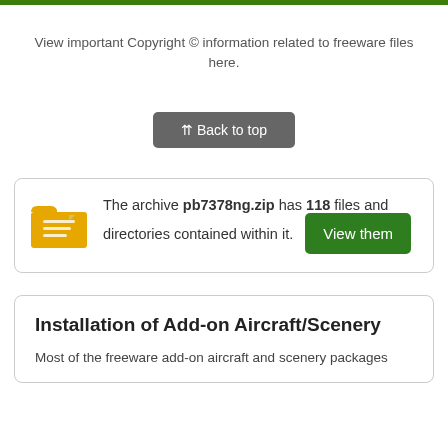View important Copyright © information related to freeware files here.
⇈ Back to top
The archive pb7378ng.zip has 118 files and directories contained within it. View them
Installation of Add-on Aircraft/Scenery
Most of the freeware add-on aircraft and scenery packages